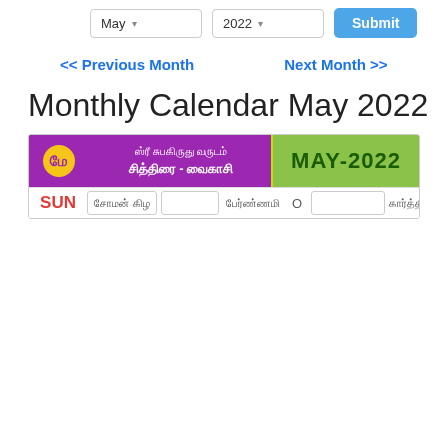[Figure (screenshot): Month and year selector dropdowns (May, 2022) with a Submit button]
<< Previous Month    Next Month >>
Monthly Calendar May 2022
[Figure (other): Tamil monthly calendar banner for May 2022 showing Sri Subhakiruthu Varudam, Chithirai - Vaikasi months, with MAY-2022 label and calendar row header with SUN and Tamil day names]